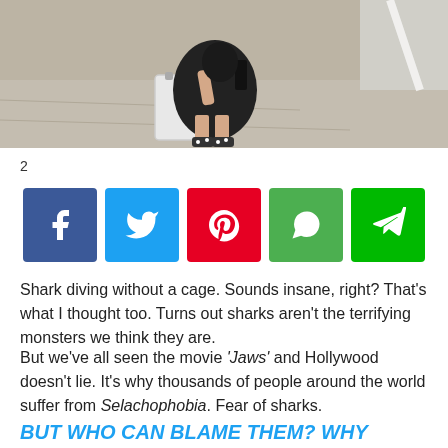[Figure (photo): Photo of a person bending down near luggage on a sidewalk, wearing a black outfit and patterned shoes]
2
[Figure (infographic): Social sharing buttons: Facebook (blue), Twitter (light blue), Pinterest (red), WhatsApp (green), Line (green)]
Shark diving without a cage. Sounds insane, right? That's what I thought too. Turns out sharks aren't the terrifying monsters we think they are.
But we've all seen the movie 'Jaws' and Hollywood doesn't lie. It's why thousands of people around the world suffer from Selachophobia. Fear of sharks.
BUT WHO CAN BLAME THEM? WHY